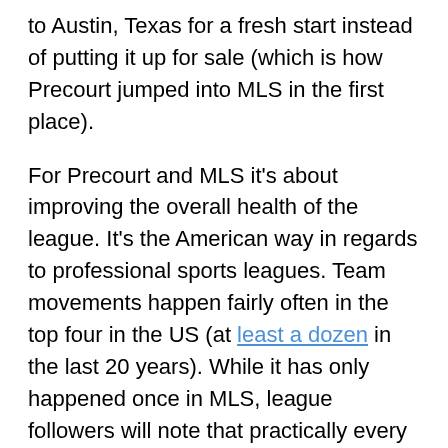to Austin, Texas for a fresh start instead of putting it up for sale (which is how Precourt jumped into MLS in the first place).
For Precourt and MLS it's about improving the overall health of the league. It's the American way in regards to professional sports leagues. Team movements happen fairly often in the top four in the US (at least a dozen in the last 20 years). While it has only happened once in MLS, league followers will note that practically every team has gone through a number of rebrands and restarts in the effort to re-energize fledgling metrics.
This word: Metrics. It's become a rallying cry for Crew support. As it should. It's impossible to measure the heart of one fan, let alone hundreds. This fact strikes the soul of any fan of any team. With this in mind, fans have decided to prove that there is a market to be had here in Columbus by selling out a traditionally sparsely attended midweek match. To an outsider, this may seem counter-intuitive. Why give the investor of a team on the move more money as he skips town. But to a fan of the team, it makes sense. A show of